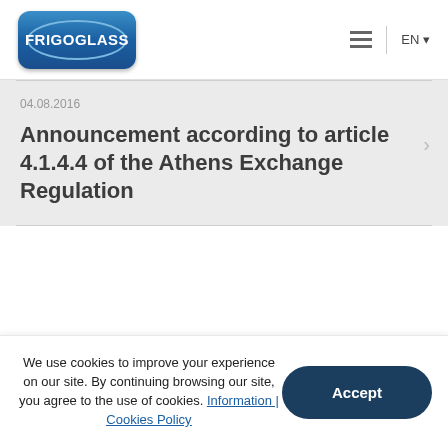[Figure (logo): Frigoglass company logo — blue rounded rectangle with white oval border and white text FRIGOGLASS]
EN
04.08.2016
Announcement according to article 4.1.4.4 of the Athens Exchange Regulation
We use cookies to improve your experience on our site. By continuing browsing our site, you agree to the use of cookies. Information | Cookies Policy